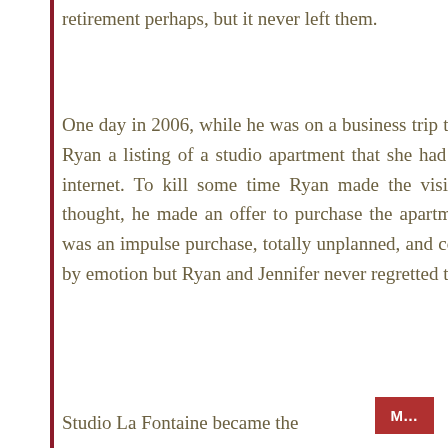retirement perhaps, but it never left them.
One day in 2006, while he was on a business trip to Paris, Jennifer sent Ryan a listing of a studio apartment that she had seen for sale on the internet. To kill some time Ryan made the visit. Without a second thought, he made an offer to purchase the apartment that very day. It was an impulse purchase, totally unplanned, and completely influenced by emotion but Ryan and Jennifer never regretted their decision.
Studio La Fontaine became the